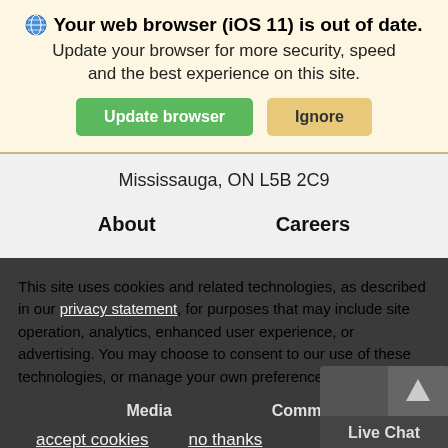Your web browser (iOS 11) is out of date. Update your browser for more security, speed and the best experience on this site. [Update browser] [Ignore]
Mississauga, ON L5B 2C9
About   Careers
This site uses cookies and related technologies, as described in our privacy statement, for purposes that may include site operation, analytics, enhanced user experience, or advertising. You may choose to consent to our use of these technologies, or manage your own preferences. Learn More!
Media   Comm
accept cookies   no thanks